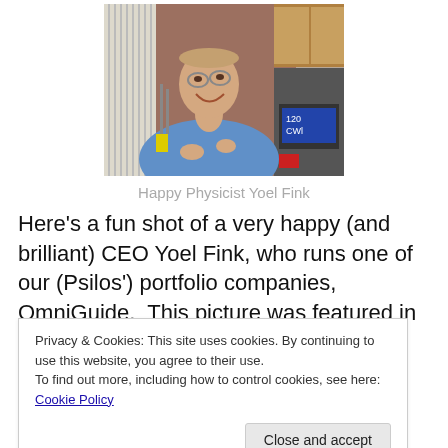[Figure (photo): Smiling man in blue shirt in a laboratory/medical device setting, holding something small, with equipment visible in background including a device showing '120 CWL']
Happy Physicist Yoel Fink
Here's a fun shot of a very happy (and brilliant) CEO Yoel Fink, who runs one of our (Psilos') portfolio companies, OmniGuide.  This picture was featured in a
Privacy & Cookies: This site uses cookies. By continuing to use this website, you agree to their use.
To find out more, including how to control cookies, see here: Cookie Policy
VCs have invested in incredible medical devices and